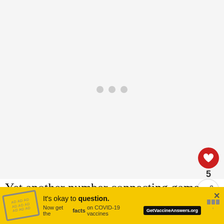[Figure (other): Loading placeholder with three gray dots centered on a light gray background]
Yet another number connecting game where you have to reach as highest sum as possible. The sum of the
[Figure (other): Advertisement banner: yellow background with stamp icon, text 'It’s okay to question. Now get the facts on COVID-19 vaccines' with GetVaccineAnswers.org button and close X]